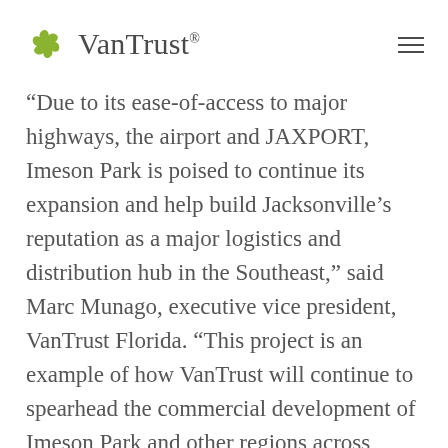VanTrust®
“Due to its ease-of-access to major highways, the airport and JAXPORT, Imeson Park is poised to continue its expansion and help build Jacksonville’s reputation as a major logistics and distribution hub in the Southeast,” said Marc Munago, executive vice president, VanTrust Florida. “This project is an example of how VanTrust will continue to spearhead the commercial development of Imeson Park and other regions across Jacksonville to support the city’s economic